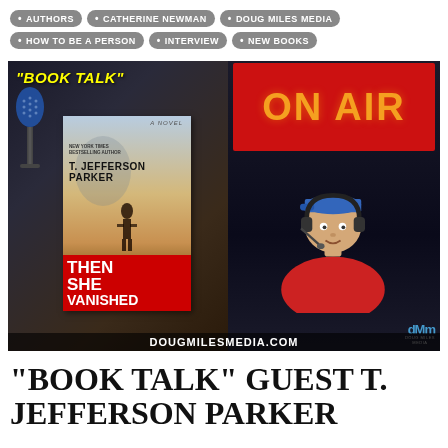AUTHORS
CATHERINE NEWMAN
DOUG MILES MEDIA
HOW TO BE A PERSON
INTERVIEW
NEW BOOKS
[Figure (photo): Book Talk radio show promotional image showing a microphone on the left, an ON AIR red sign at top right, the book cover for 'Then She Vanished' by T. Jefferson Parker in the center-left, a male radio host wearing a blue cap and headset in the center-right, and the text DOUGMILESMEDIA.COM at the bottom. 'BOOK TALK' text appears in yellow at top left.]
“BOOK TALK” GUEST T. JEFFERSON PARKER